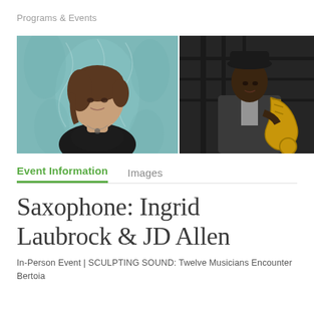Programs & Events
[Figure (photo): Portrait photo of Ingrid Laubrock (woman with short brown hair in black top against teal patterned wallpaper) and JD Allen (man in suit holding saxophone on dark stairwell background), side by side]
Event Information   Images
Saxophone: Ingrid Laubrock & JD Allen
In-Person Event | SCULPTING SOUND: Twelve Musicians Encounter Bertoia